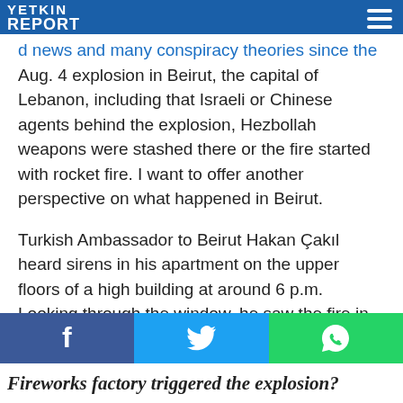Yetkin Report
...red news and many conspiracy theories since the Aug. 4 explosion in Beirut, the capital of Lebanon, including that Israeli or Chinese agents behind the explosion, Hezbollah weapons were stashed there or the fire started with rocket fire. I want to offer another perspective on what happened in Beirut.
Turkish Ambassador to Beirut Hakan Çakıl heard sirens in his apartment on the upper floors of a high building at around 6 p.m. Looking through the window, he saw the fire in the port area, not very far, about 1 kilometer away. He didn't care much at the beginning, fire was not something uncommon in Beirut. But in a few minutes, the smoke turned reddish-brown and started to grow. Soon after, at 6.08 p.m., that terrible explosion took place. The ambassador's residence was damaged, he survived without injuries, but as late Aug. 7, 156 people died, more than 6 thousand people were injured, and 300 thousand people were displaced from their homes.
Fireworks factory triggered the explosion?